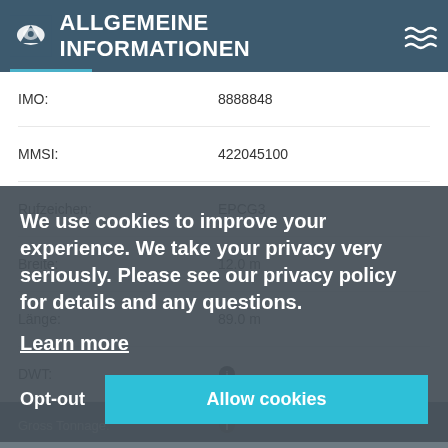ALLGEMEINE INFORMATIONEN
| Field | Value |
| --- | --- |
| IMO: | 8888848 |
| MMSI: | 422045100 |
| Rufzeichen: | EPCG3 |
| Breite: | 12.0 m |
| Länge: | 89.0 m |
| DWT: | (info icon) |
| Gross Tonnage: | (info icon) |
| TEU: | (info icon) |
| Liquid Capacity: | (info icon) |
| Baujahr: | (info icon) |
| Klasse: | (info icon) |
| AIS-Typ: | Other Ship |
| Schiffstyp: | (info icon) |
| Flagge: | Iran |
| Hersteller: | (info icon) |
| Eigner: | (info icon) |
| Operator: | (info icon) |
| Versicherer: |  |
We use cookies to improve your experience. We take your privacy very seriously. Please see our privacy policy for details and any questions.
Learn more
Opt-out
Allow cookies